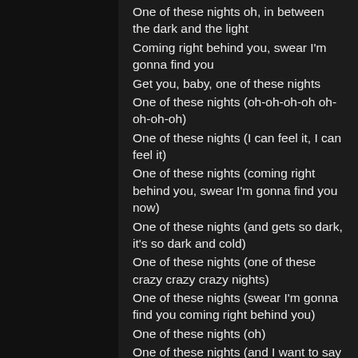One of these nights oh, in between the dark and the light
Coming right behind you, swear I'm gonna find you
Get you, baby, one of these nights
One of these nights (oh-oh-oh-oh oh-oh-oh-oh)
One of these nights (I can feel it, I can feel it)
One of these nights (coming right behind you, swear I'm gonna find you now)
One of these nights (and gets so dark, it's so dark and cold)
One of these nights (one of these crazy crazy crazy nights)
One of these nights (swear I'm gonna find you coming right behind you)
One of these nights (oh)
One of these nights (and I want to say ah)